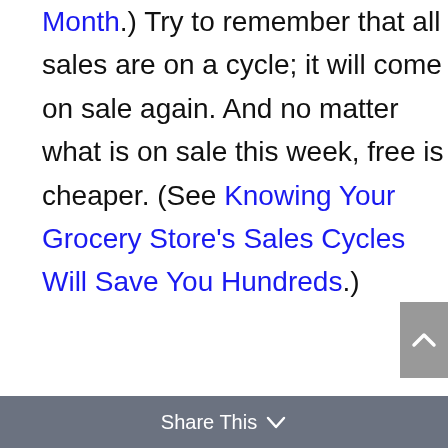Month.) Try to remember that all sales are on a cycle; it will come on sale again. And no matter what is on sale this week, free is cheaper. (See Knowing Your Grocery Store's Sales Cycles Will Save You Hundreds.)
[Figure (other): Scroll-to-top button (grey square with upward chevron arrow)]
Share This ∨